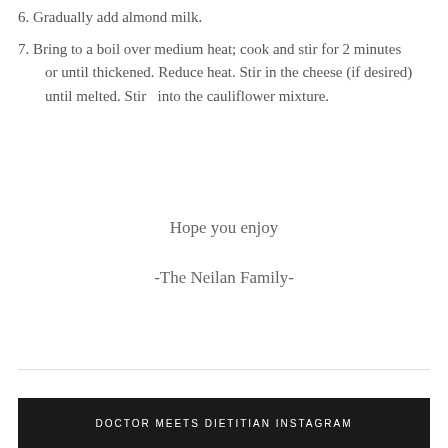6. Gradually add almond milk.
7. Bring to a boil over medium heat; cook and stir for 2 minutes or until thickened. Reduce heat. Stir in the cheese (if desired) until melted. Stir  into the cauliflower mixture.
Hope you enjoy
-The Neilan Family-
Search ...
DOCTOR MEETS DIETITIAN INSTAGRAM